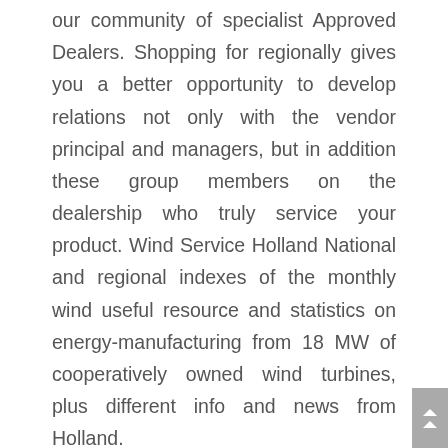our community of specialist Approved Dealers. Shopping for regionally gives you a better opportunity to develop relations not only with the vendor principal and managers, but in addition these group members on the dealership who truly service your product. Wind Service Holland National and regional indexes of the monthly wind useful resource and statistics on energy-manufacturing from 18 MW of cooperatively owned wind turbines, plus different info and news from Holland.
We're getting ready more hints and ideas such as the search on the aspect of a ok champion dream quest of a business, getting financing and bloke